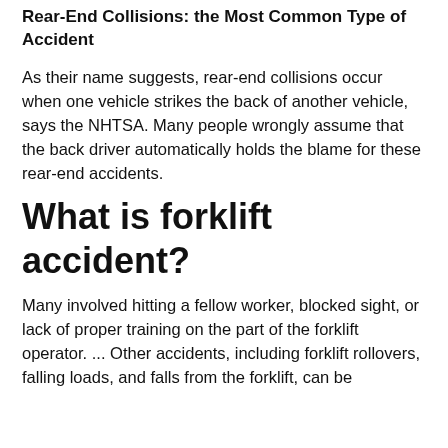Rear-End Collisions: the Most Common Type of Accident
As their name suggests, rear-end collisions occur when one vehicle strikes the back of another vehicle, says the NHTSA. Many people wrongly assume that the back driver automatically holds the blame for these rear-end accidents.
What is forklift accident?
Many involved hitting a fellow worker, blocked sight, or lack of proper training on the part of the forklift operator. ... Other accidents, including forklift rollovers, falling loads, and falls from the forklift, can be